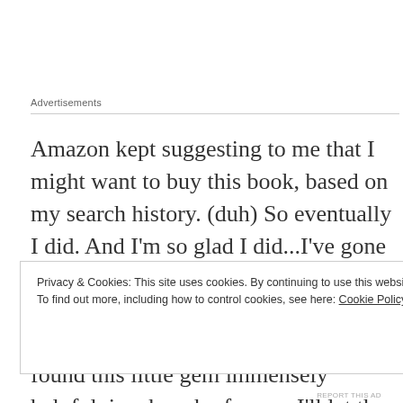Advertisements
Amazon kept suggesting to me that I might want to buy this book, based on my search history. (duh) So eventually I did. And I'm so glad I did...I've gone through it multiple times, given it to a bunch of art-friends, and now I'm writing a blog- post about it. I've found this little gem immensely helpful, in a bunch of ways. I'll let the pics tell the story:
Privacy & Cookies: This site uses cookies. By continuing to use this website, you agree to their use.
To find out more, including how to control cookies, see here: Cookie Policy
Close and accept
REPORT THIS AD